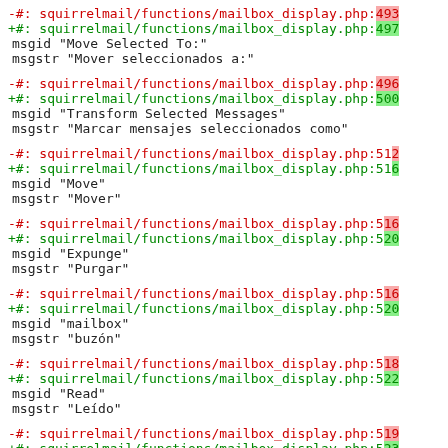-#: squirrelmail/functions/mailbox_display.php:493
+#: squirrelmail/functions/mailbox_display.php:497
 msgid "Move Selected To:"
 msgstr "Mover seleccionados a:"
-#: squirrelmail/functions/mailbox_display.php:496
+#: squirrelmail/functions/mailbox_display.php:500
 msgid "Transform Selected Messages"
 msgstr "Marcar mensajes seleccionados como"
-#: squirrelmail/functions/mailbox_display.php:512
+#: squirrelmail/functions/mailbox_display.php:516
 msgid "Move"
 msgstr "Mover"
-#: squirrelmail/functions/mailbox_display.php:516
+#: squirrelmail/functions/mailbox_display.php:520
 msgid "Expunge"
 msgstr "Purgar"
-#: squirrelmail/functions/mailbox_display.php:516
+#: squirrelmail/functions/mailbox_display.php:520
 msgid "mailbox"
 msgstr "buzón"
-#: squirrelmail/functions/mailbox_display.php:518
+#: squirrelmail/functions/mailbox_display.php:522
 msgid "Read"
 msgstr "Leído"
-#: squirrelmail/functions/mailbox_display.php:519
+#: squirrelmail/functions/mailbox_display.php:523